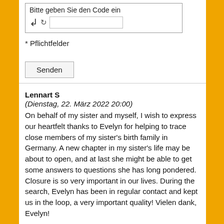[Figure (screenshot): CAPTCHA input area with label 'Bitte geben Sie den Code ein', an arrow icon, refresh icon, and text input field]
* Pflichtfelder
Senden
Lennart S
(Dienstag, 22. März 2022 20:00)
On behalf of my sister and myself, I wish to express our heartfelt thanks to Evelyn for helping to trace close members of my sister's birth family in Germany. A new chapter in my sister's life may be about to open, and at last she might be able to get some answers to questions she has long pondered. Closure is so very important in our lives. During the search, Evelyn has been in regular contact and kept us in the loop, a very important quality! Vielen dank, Evelyn!
Angela
(Dienstag, 08. März 2022 21:03)
Evelyn has truly been a blessing to our family. We have been searching for my mothers birth family in Germany and didn't know where to start. We found Evelyn's